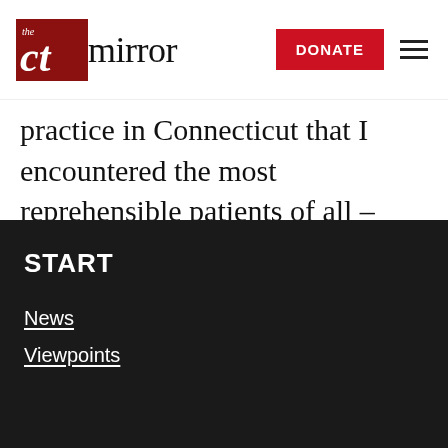the CT mirror — DONATE
practice in Connecticut that I encountered the most reprehensible patients of all – who routinely tempt me to violate the Hippocratic Oath and do maximum harm – the smug New England Patriots fan.
START
News
Viewpoints